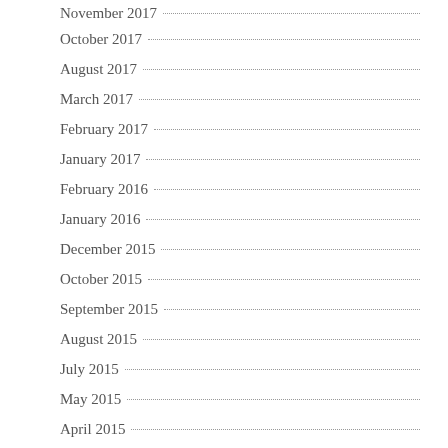November 2017
October 2017
August 2017
March 2017
February 2017
January 2017
February 2016
January 2016
December 2015
October 2015
September 2015
August 2015
July 2015
May 2015
April 2015